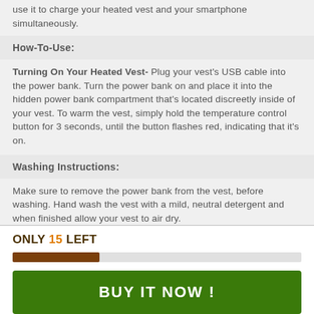use it to charge your heated vest and your smartphone simultaneously.
How-To-Use:
Turning On Your Heated Vest- Plug your vest's USB cable into the power bank. Turn the power bank on and place it into the hidden power bank compartment that's located discreetly inside of your vest. To warm the vest, simply hold the temperature control button for 3 seconds, until the button flashes red, indicating that it's on.
Washing Instructions:
Make sure to remove the power bank from the vest, before washing. Hand wash the vest with a mild, neutral detergent and when finished allow your vest to air dry.
Product Specifications:
ONLY 15 LEFT
BUY IT NOW !